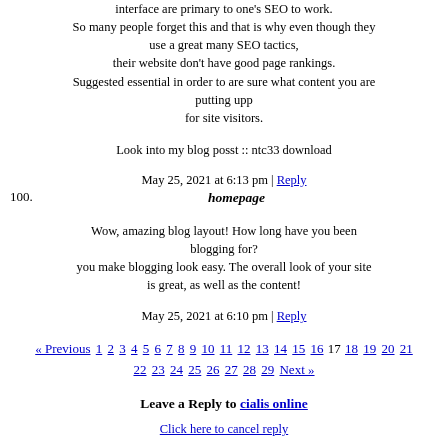interface are primary to one's SEO to work.
So many people forget this and that is why even though they use a great many SEO tactics,
their website don't have good page rankings.
Suggested essential in order to are sure what content you are putting upp
for site visitors.
Look into my blog posst :: ntc33 download
May 25, 2021 at 6:13 pm | Reply
100. homepage
Wow, amazing blog layout! How long have you been blogging for?
you make blogging look easy. The overall look of your site is great, as well as the content!
May 25, 2021 at 6:10 pm | Reply
« Previous 1 2 3 4 5 6 7 8 9 10 11 12 13 14 15 16 17 18 19 20 21 22 23 24 25 26 27 28 29 Next »
Leave a Reply to cialis online
Click here to cancel reply